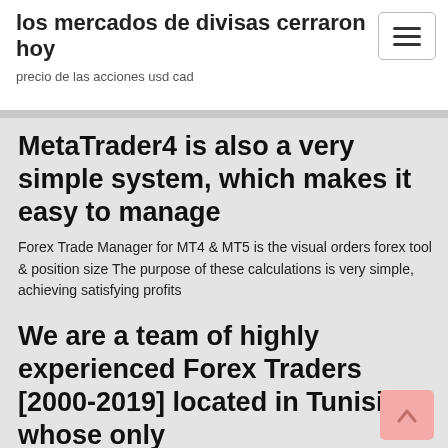los mercados de divisas cerraron hoy
precio de las acciones usd cad
MetaTrader4 is also a very simple system, which makes it easy to manage
Forex Trade Manager for MT4 & MT5 is the visual orders forex tool & position size The purpose of these calculations is very simple, achieving satisfying profits
We are a team of highly experienced Forex Traders [2000-2019] located in Tunisia whose only